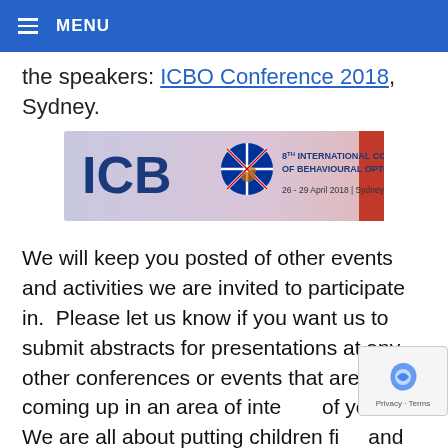≡ MENU
g p p … the speakers: ICBO Conference 2018, Sydney.
[Figure (logo): ICBO 8th International Congress of Behavioural Optometry banner, 26-29 April 2018, Sydney Australia]
We will keep you posted of other events and activities we are invited to participate in. Please let us know if you want us to submit abstracts for presentations at any other conferences or events that are coming up in an area of interest of yours. We are all about putting children first and helping families and other care providers